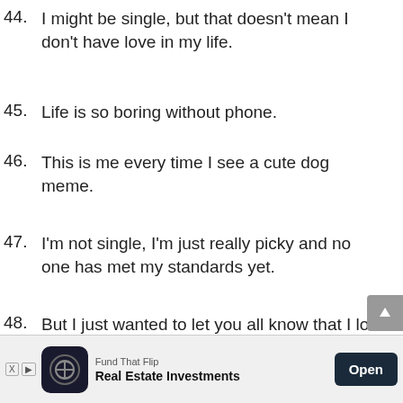44. I might be single, but that doesn't mean I don't have love in my life.
45. Life is so boring without phone.
46. This is me every time I see a cute dog meme.
47. I'm not single, I'm just really picky and no one has met my standards yet.
48. But I just wanted to let you all know that I love you. 🙂
[Figure (infographic): Advertisement banner for 'Fund That Flip - Real Estate Investments' with a dark circular logo, X and play badges, and an Open button]